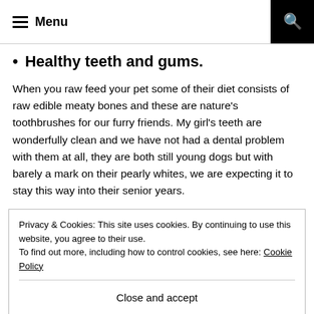Menu
Healthy teeth and gums.
When you raw feed your pet some of their diet consists of raw edible meaty bones and these are nature’s toothbrushes for our furry friends. My girl’s teeth are wonderfully clean and we have not had a dental problem with them at all, they are both still young dogs but with barely a mark on their pearly whites, we are expecting it to stay this way into their senior years.
Privacy & Cookies: This site uses cookies. By continuing to use this website, you agree to their use.
To find out more, including how to control cookies, see here: Cookie Policy
Close and accept